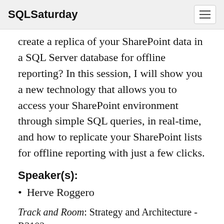SQLSaturday
create a replica of your SharePoint data in a SQL Server database for offline reporting? In this session, I will show you a new technology that allows you to access your SharePoint environment through simple SQL queries, in real-time, and how to replicate your SharePoint lists for offline reporting with just a few clicks.
Speaker(s):
Herve Roggero
Track and Room: Strategy and Architecture - R3102